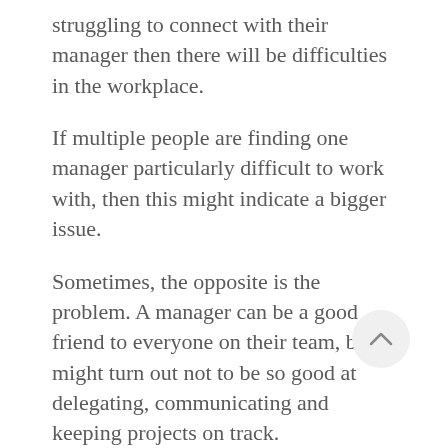struggling to connect with their manager then there will be difficulties in the workplace.
If multiple people are finding one manager particularly difficult to work with, then this might indicate a bigger issue.
Sometimes, the opposite is the problem. A manager can be a good friend to everyone on their team, but might turn out not to be so good at delegating, communicating and keeping projects on track.
3: Lack of progression opportunities
Many of your employees will want to feel like they've still got a bit of climbing room. They'll want to work hard, then be rewarded with promotions